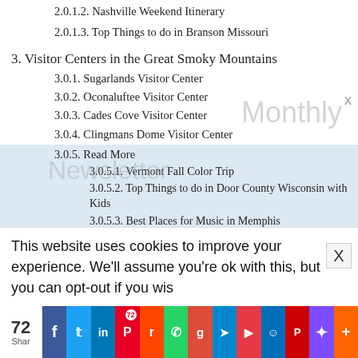2.0.1.2. Nashville Weekend Itinerary
2.0.1.3. Top Things to do in Branson Missouri
3. Visitor Centers in the Great Smoky Mountains
3.0.1. Sugarlands Visitor Center
3.0.2. Oconaluftee Visitor Center
3.0.3. Cades Cove Visitor Center
3.0.4. Clingmans Dome Visitor Center
3.0.5. Read More
3.0.5.1. Vermont Fall Color Trip
3.0.5.2. Top Things to do in Door County Wisconsin with Kids
3.0.5.3. Best Places for Music in Memphis
4. Scenic Drives in the Great Smoky Mountains
5. Hiking in the Great Smoky Mountains
5.0.1. Read More
5.0.1.1. Acadia National Park in Maine
5.0.1.2. Crater of Diamond State Park in Arkansas
This website uses cookies to improve your experience. We'll assume you're ok with this, but you can opt-out if you wis
72 Shares — Facebook, Twitter, LinkedIn, Pinterest, Reddit, WhatsApp, Google, Telegram, Flipboard, Messenger, Mix, AddThis, More